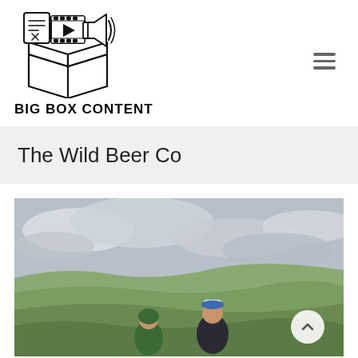[Figure (logo): Big Box Content logo — an open cardboard box with a document, film strip/play button, and megaphone icons above it, drawn in black outline style]
BIG BOX CONTENT
The Wild Beer Co
[Figure (photo): Two people standing on a hillside looking out over a green rolling countryside landscape under a cloudy grey sky. One person wears a green hoodie, the other a dark hoodie with a blue and white hat.]